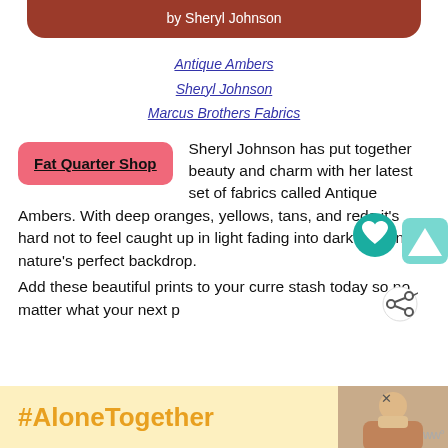by Sheryl Johnson
Antique Ambers
Sheryl Johnson
Marcus Brothers Fabrics
[Figure (other): Pink button labeled Fat Quarter Shop]
Sheryl Johnson has put together beauty and charm with her latest set of fabrics called Antique Ambers. With deep oranges, yellows, tans, and reds it's hard not to feel caught up in light fading into dark creating nature's perfect backdrop.
Add these beautiful prints to your curre stash today so no matter what your next p
[Figure (other): Advertisement banner with #AloneTogether hashtag and photo of woman]